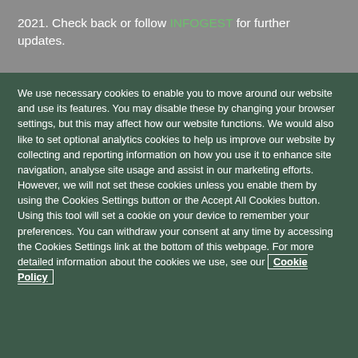2021. Check back or follow INFOGEST for further updates.
We use necessary cookies to enable you to move around our website and use its features. You may disable these by changing your browser settings, but this may affect how our website functions. We would also like to set optional analytics cookies to help us improve our website by collecting and reporting information on how you use it to enhance site navigation, analyse site usage and assist in our marketing efforts. However, we will not set these cookies unless you enable them by using the Cookies Settings button or the Accept All Cookies button. Using this tool will set a cookie on your device to remember your preferences. You can withdraw your consent at any time by accessing the Cookies Settings link at the bottom of this webpage. For more detailed information about the cookies we use, see our Cookie Policy